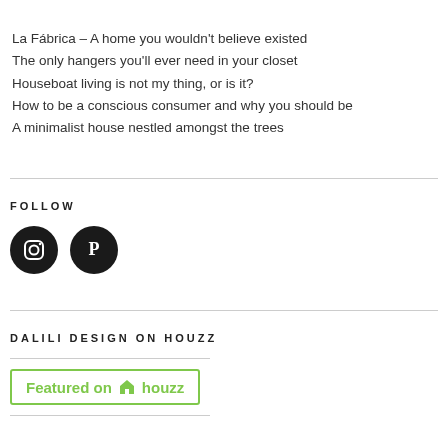La Fábrica – A home you wouldn't believe existed
The only hangers you'll ever need in your closet
Houseboat living is not my thing, or is it?
How to be a conscious consumer and why you should be
A minimalist house nestled amongst the trees
FOLLOW
[Figure (illustration): Two circular black social media icons: Instagram and Pinterest]
DALILI DESIGN ON HOUZZ
[Figure (logo): Featured on Houzz badge with green border and green text]